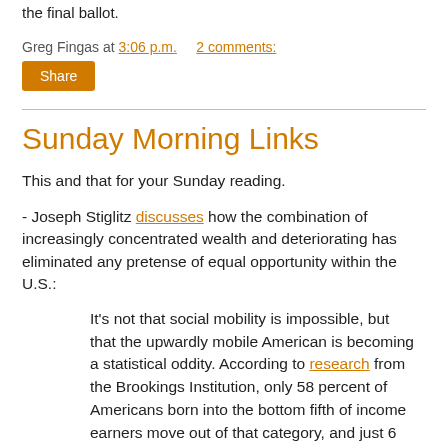the final ballot.
Greg Fingas at 3:06 p.m.    2 comments:
Share
Sunday Morning Links
This and that for your Sunday reading.
- Joseph Stiglitz discusses how the combination of increasingly concentrated wealth and deteriorating has eliminated any pretense of equal opportunity within the U.S.:
It's not that social mobility is impossible, but that the upwardly mobile American is becoming a statistical oddity. According to research from the Brookings Institution, only 58 percent of Americans born into the bottom fifth of income earners move out of that category, and just 6 percent born into the bottom fifth move into the